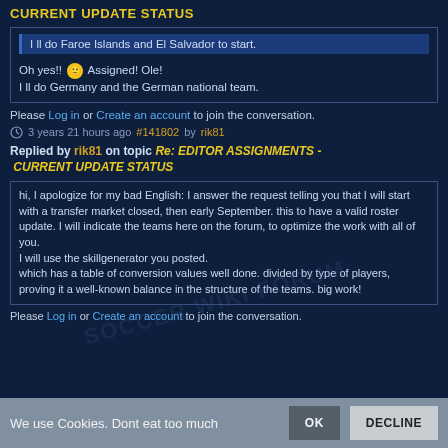CURRENT UPDATE STATUS
I ll do Faroe Islands and El Salvador to start.
Oh yes!! 🙂 Assigned! Ole!
I ll do Germany and the German national team.
Please Log in or Create an account to join the conversation.
3 years 21 hours ago #141802 by rik81
Replied by rik81 on topic Re: EDITOR ASSIGNMENTS - CURRENT UPDATE STATUS
hi, I apologize for my bad English: I answer the request telling you that I will start with a transfer market closed, then early September. this to have a valid roster update. I will indicate the teams here on the forum, to optimize the work with all of you.
I will use the skillgenerator you posted.
which has a table of conversion values well done. divided by type of players, proving it a well-known balance in the structure of the teams. big work!
Please Log in or Create an account to join the conversation.
We use Cookies. Dont eat too much